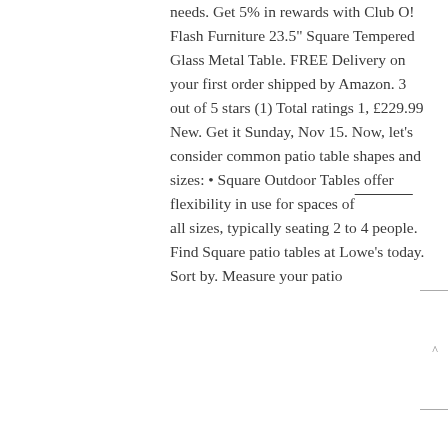needs. Get 5% in rewards with Club O! Flash Furniture 23.5" Square Tempered Glass Metal Table. FREE Delivery on your first order shipped by Amazon. 3 out of 5 stars (1) Total ratings 1, £229.99 New. Get it Sunday, Nov 15. Now, let's consider common patio table shapes and sizes: • Square Outdoor Tables offer flexibility in use for spaces of all sizes, typically seating 2 to 4 people. Find Square patio tables at Lowe's today. Sort by. Measure your patio